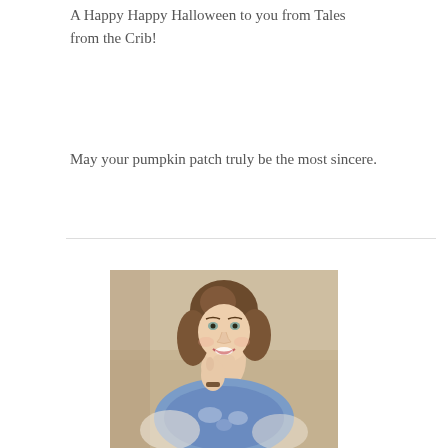A Happy Happy Halloween to you from Tales from the Crib!
May your pumpkin patch truly be the most sincere.
[Figure (photo): Portrait photo of a smiling woman with shoulder-length brown hair, wearing a blue and white patterned top, hand raised near her neck, photographed against a warm beige/tan blurred background.]